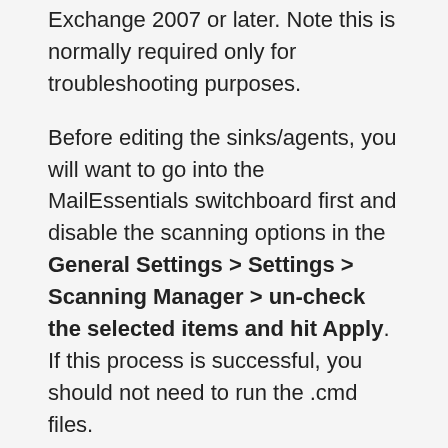Exchange 2007 or later. Note this is normally required only for troubleshooting purposes.
Before editing the sinks/agents, you will want to go into the MailEssentials switchboard first and disable the scanning options in the General Settings > Settings > Scanning Manager > un-check the selected items and hit Apply. If this process is successful, you should not need to run the .cmd files.
Microsoft Exchange 2000 / 2003 & IIS SMTP
To disable GFI MailEssentials from